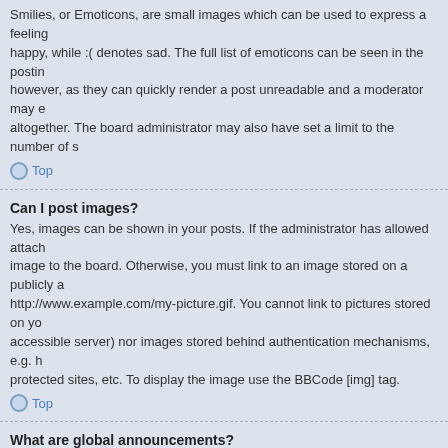Smilies, or Emoticons, are small images which can be used to express a feeling happy, while :( denotes sad. The full list of emoticons can be seen in the posting however, as they can quickly render a post unreadable and a moderator may e altogether. The board administrator may also have set a limit to the number of s
Top
Can I post images?
Yes, images can be shown in your posts. If the administrator has allowed attach image to the board. Otherwise, you must link to an image stored on a publicly a http://www.example.com/my-picture.gif. You cannot link to pictures stored on yo accessible server) nor images stored behind authentication mechanisms, e.g. h protected sites, etc. To display the image use the BBCode [img] tag.
Top
What are global announcements?
Global announcements contain important information and you should read them at the top of every forum and within your User Control Panel. Global announcer board administrator.
Top
What are announcements?
Announcements often contain important information for the forum you are curre whenever possible. Announcements appear at the top of every page in the foru global announcements, announcement permissions are granted by the board a
Top